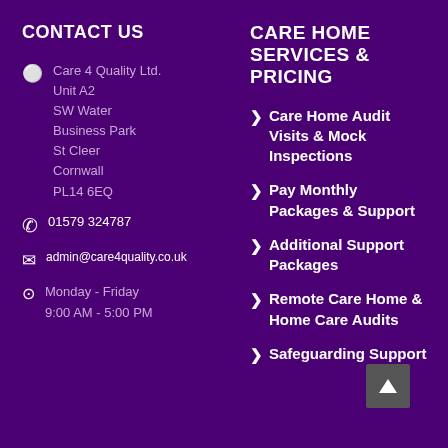CONTACT US
Care 4 Quality Ltd.
Unit A2
SW Water Business Park
St Cleer
Cornwall
PL14 6EQ
01579 324787
admin@care4quality.co.uk
Monday - Friday
9:00 AM - 5:00 PM
CARE HOME SERVICES & PRICING
Care Home Audit Visits & Mock Inspections
Pay Monthly Packages & Support
Additional Support Packages
Remote Care Home & Home Care Audits
Safeguarding Support